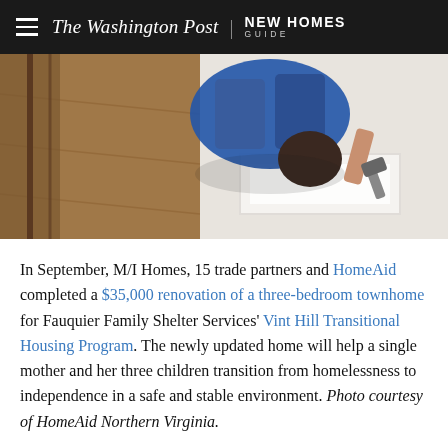The Washington Post | NEW HOMES GUIDE
[Figure (photo): A person working on home renovation, viewed from above, wearing a blue shirt and holding a hammer near what appears to be window trim or molding. The floor and walls are visible around them.]
In September, M/I Homes, 15 trade partners and HomeAid completed a $35,000 renovation of a three-bedroom townhome for Fauquier Family Shelter Services' Vint Hill Transitional Housing Program. The newly updated home will help a single mother and her three children transition from homelessness to independence in a safe and stable environment. Photo courtesy of HomeAid Northern Virginia.
Toll Brothers